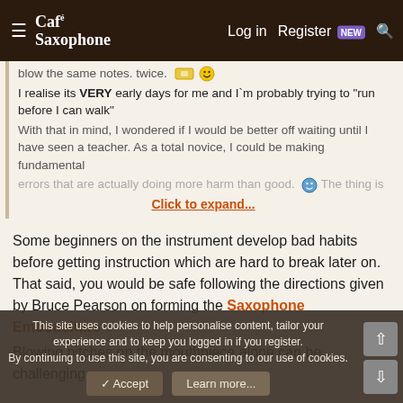Café Saxophone — Log in | Register | NEW | Search
blow the same notes. twice. [emoji] I realise its VERY early days for me and I`m probably trying to "run before I can walk" With that in mind, I wondered if I would be better off waiting until I have seen a teacher. As a total novice, I could be making fundamental errors that are actually doing more harm than good. [emoji] The thing is
Click to expand...
Some beginners on the instrument develop bad habits before getting instruction which are hard to break later on. That said, you would be safe following the directions given by Bruce Pearson on forming the Saxophone Embouchure
Blowing pitches on the mouthpiece alone can be challenging
This site uses cookies to help personalise content, tailor your experience and to keep you logged in if you register.
By continuing to use this site, you are consenting to our use of cookies.
✓ Accept   Learn more...